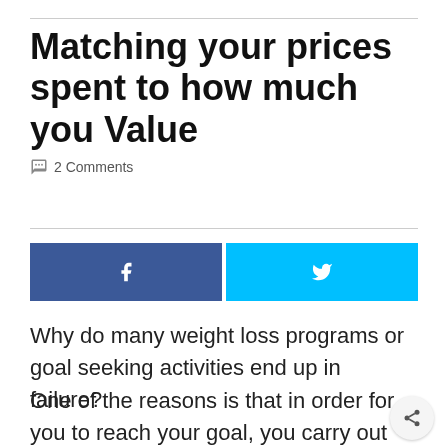Matching your prices spent to how much you Value
2 Comments
[Figure (other): Social sharing buttons: Facebook (blue) and Twitter (cyan) side by side]
Why do many weight loss programs or goal seeking activities end up in failure?
One of the reasons is that in order for you to reach your goal, you carry out very extreme actions. These actions are correct, and when